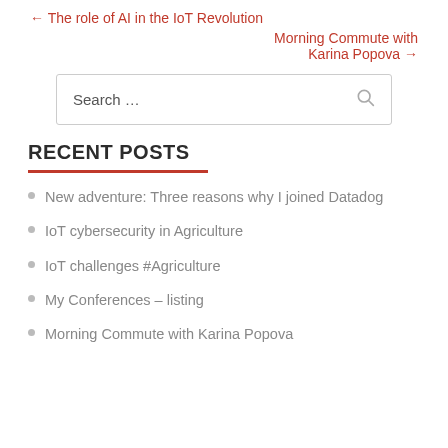← The role of AI in the IoT Revolution
Morning Commute with Karina Popova →
Search …
RECENT POSTS
New adventure: Three reasons why I joined Datadog
IoT cybersecurity in Agriculture
IoT challenges #Agriculture
My Conferences – listing
Morning Commute with Karina Popova